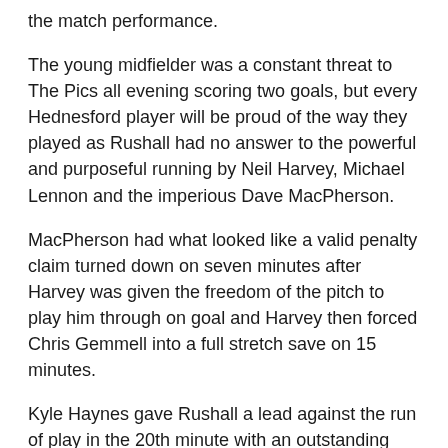the match performance.
The young midfielder was a constant threat to The Pics all evening scoring two goals, but every Hednesford player will be proud of the way they played as Rushall had no answer to the powerful and purposeful running by Neil Harvey, Michael Lennon and the imperious Dave MacPherson.
MacPherson had what looked like a valid penalty claim turned down on seven minutes after Harvey was given the freedom of the pitch to play him through on goal and Harvey then forced Chris Gemmell into a full stretch save on 15 minutes.
Kyle Haynes gave Rushall a lead against the run of play in the 20th minute with an outstanding long range strike which would have graced any cup final, but once Ben Bailey equalised from close range, despite MacPherson and Osborne shooting over when well placed for Hednesford and Dave Walker missing two great opportunities just after half time, The Pitmen demolished